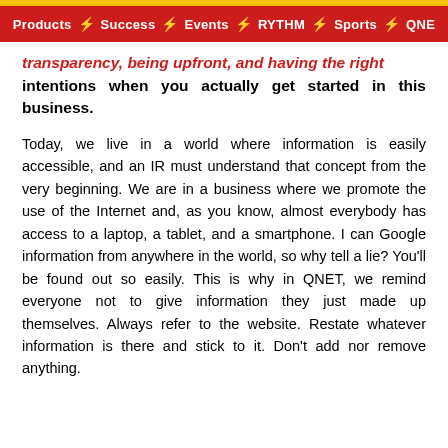Products ⚡ Success ⚡ Events ⚡ RYTHM ⚡ Sports ⚡ QNE
transparency, being upfront, and having the right intentions when you actually get started in this business.
Today, we live in a world where information is easily accessible, and an IR must understand that concept from the very beginning. We are in a business where we promote the use of the Internet and, as you know, almost everybody has access to a laptop, a tablet, and a smartphone. I can Google information from anywhere in the world, so why tell a lie? You'll be found out so easily. This is why in QNET, we remind everyone not to give information they just made up themselves. Always refer to the website. Restate whatever information is there and stick to it. Don't add nor remove anything.